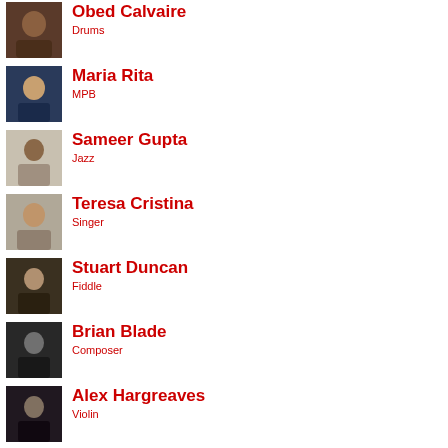Obed Calvaire — Drums
Maria Rita — MPB
Sameer Gupta — Jazz
Teresa Cristina — Singer
Stuart Duncan — Fiddle
Brian Blade — Composer
Alex Hargreaves — Violin
(partial entry)